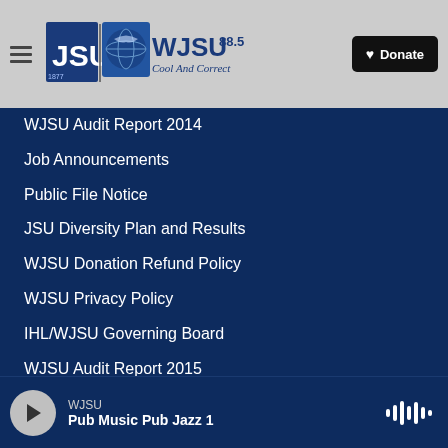[Figure (logo): WJSU 88.5 Cool And Correct radio station logo with JSU branding and hamburger menu]
WJSU Audit Report 2014
Job Announcements
Public File Notice
JSU Diversity Plan and Results
WJSU Donation Refund Policy
WJSU Privacy Policy
IHL/WJSU Governing Board
WJSU Audit Report 2015
WJSU AFR 2015
WJSU — Pub Music Pub Jazz 1